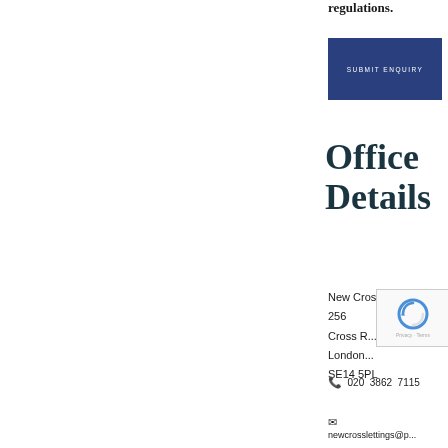regulations.
SUBMIT ENQUIRY
Office Details
New Cross
256
Cross R...
London...
SE14 5PL
020 3862 7115
newcrosslettings@p...